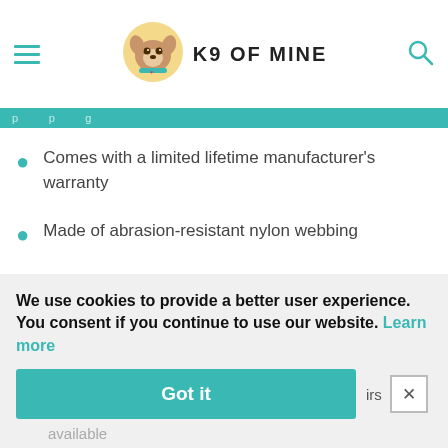K9 OF MINE
Comes with a limited lifetime manufacturer's warranty
Made of abrasion-resistant nylon webbing
Made in the USA
We use cookies to provide a better user experience. You consent if you continue to use our website. Learn more
Got it
available